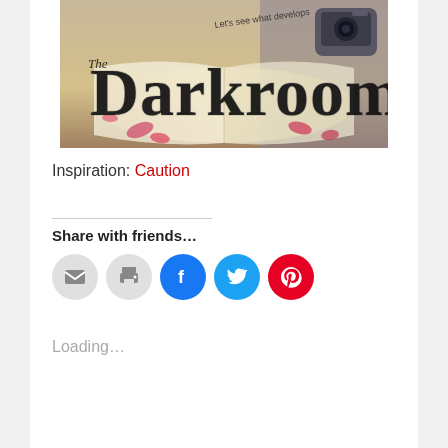[Figure (logo): The Darkroom blog logo — stylized text 'The Darkroom' with tagline 'Let's see what develops' over an open book with rose petals and a vintage camera]
Inspiration: Caution
Share with friends...
[Figure (infographic): Row of social sharing buttons: email (grey), print (grey), Facebook (blue), Twitter (cyan), Pinterest (red)]
Loading...